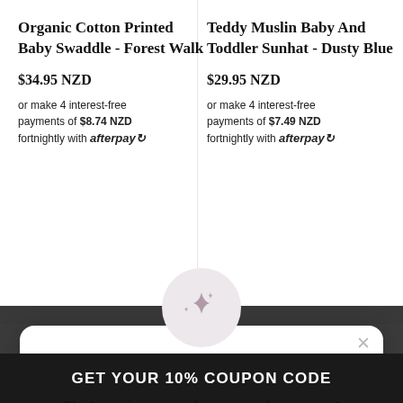Organic Cotton Printed Baby Swaddle - Forest Walk
$34.95 NZD
or make 4 interest-free payments of $8.74 NZD fortnightly with afterpay
Teddy Muslin Baby And Toddler Sunhat - Dusty Blue
$29.95 NZD
or make 4 interest-free payments of $7.49 NZD fortnightly with afterpay
[Figure (illustration): Sparkle/stars decorative icon inside a light gray circle]
Start earning rewards as you shop mama!
Sign up or Log in now
Sign up
Already have an account? Sign in
GET YOUR 10% COUPON CODE